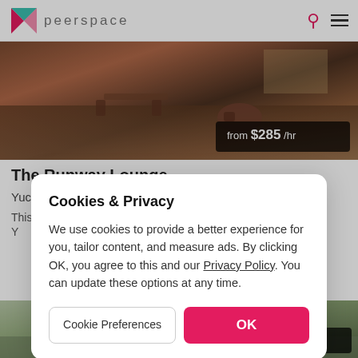peerspace
[Figure (photo): Interior photo of a mid-century modern lounge space with dark hardwood floors and furniture, showing price overlay 'from $285 /hr']
The Runway Lounge
Yucca Valley, CA
This beautiful mid-century modern home was built in 1958 on Y
Cookies & Privacy
We use cookies to provide a better experience for you, tailor content, and measure ads. By clicking OK, you agree to this and our Privacy Policy. You can update these options at any time.
Cookie Preferences
OK
[Figure (photo): Outdoor desert landscape photo with price overlay 'from $125 /hr']